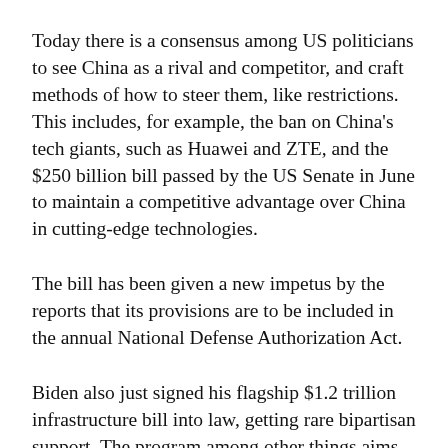Today there is a consensus among US politicians to see China as a rival and competitor, and craft methods of how to steer them, like restrictions. This includes, for example, the ban on China's tech giants, such as Huawei and ZTE, and the $250 billion bill passed by the US Senate in June to maintain a competitive advantage over China in cutting-edge technologies.
The bill has been given a new impetus by the reports that its provisions are to be included in the annual National Defense Authorization Act.
Biden also just signed his flagship $1.2 trillion infrastructure bill into law, getting rare bipartisan support. The program among other things aims to